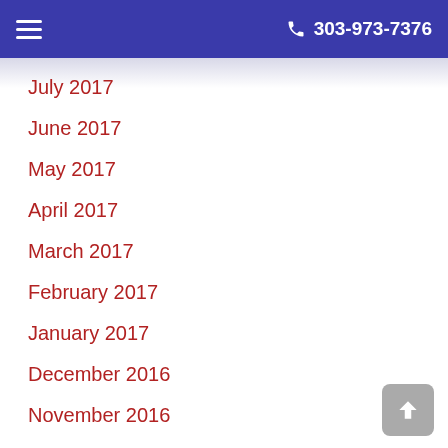☰  303-973-7376
July 2017
June 2017
May 2017
April 2017
March 2017
February 2017
January 2017
December 2016
November 2016
October 2016
September 2016
August 2016
July 2016
June 2016